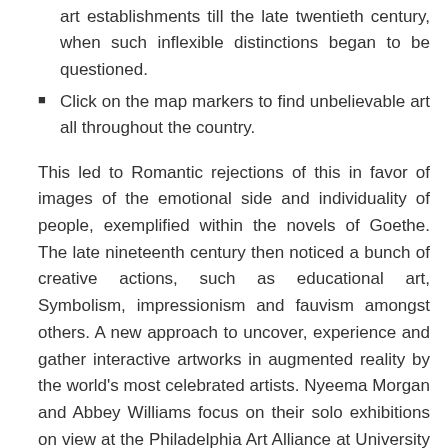art establishments till the late twentieth century, when such inflexible distinctions began to be questioned.
Click on the map markers to find unbelievable art all throughout the country.
This led to Romantic rejections of this in favor of images of the emotional side and individuality of people, exemplified within the novels of Goethe. The late nineteenth century then noticed a bunch of creative actions, such as educational art, Symbolism, impressionism and fauvism amongst others. A new approach to uncover, experience and gather interactive artworks in augmented reality by the world's most celebrated artists. Nyeema Morgan and Abbey Williams focus on their solo exhibitions on view at the Philadelphia Art Alliance at University of the Arts. Uniting two century-long legacies, the Philadelphia Art Alliance at the University of the Arts is a middle that advances